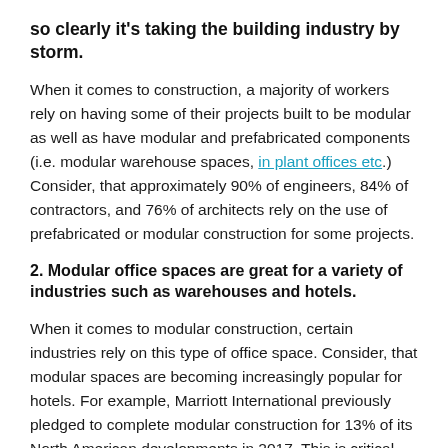so clearly it's taking the building industry by storm.
When it comes to construction, a majority of workers rely on having some of their projects built to be modular as well as have modular and prefabricated components (i.e. modular warehouse spaces, in plant offices etc.) Consider, that approximately 90% of engineers, 84% of contractors, and 76% of architects rely on the use of prefabricated or modular construction for some projects.
2. Modular office spaces are great for a variety of industries such as warehouses and hotels.
When it comes to modular construction, certain industries rely on this type of office space. Consider, that modular spaces are becoming increasingly popular for hotels. For example, Marriott International previously pledged to complete modular construction for 13% of its North American developments in 2017. This is critical, as modular spaces are far more efficient